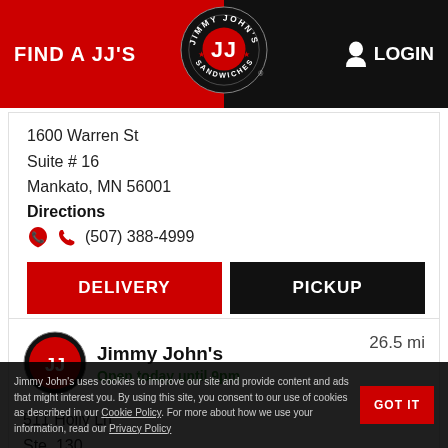FIND A JJ'S | LOGIN
1600 Warren St
Suite # 16
Mankato, MN 56001
Directions
(507) 388-4999
DELIVERY
PICKUP
Jimmy John's
Open today until 9pm
26.5 mi
511 Holly Ln
Ste. 130
Jimmy John's uses cookies to improve our site and provide content and ads that might interest you. By using this site, you consent to our use of cookies as described in our Cookie Policy. For more about how we use your information, read our Privacy Policy
GOT IT